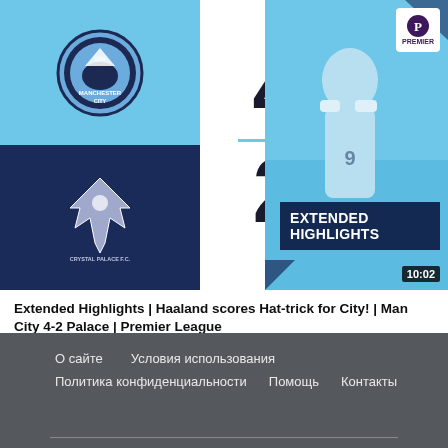[Figure (screenshot): YouTube video thumbnail: Manchester City 4-2 Crystal Palace Extended Highlights. Left side shows Man City badge (top, sky blue) and Crystal Palace badge (bottom, dark navy). Center shows score 4 (top) divider line and 2 (bottom) in white panel. Right side shows player celebrating in light blue Man City kit. 'Extended Highlights' text overlay bottom right. Premier League logo top right corner. Duration badge 10:02 bottom right.]
Extended Highlights | Haaland scores Hat-trick for City! | Man City 4-2 Palace | Premier League
Man City
Просмотров 1,3 млн
О сайте   Условия использования
Политика конфиденциальности   Помощь   Контакты